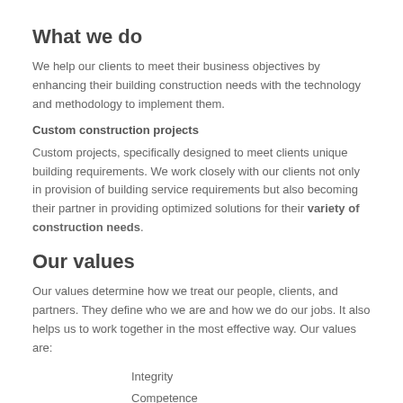What we do
We help our clients to meet their business objectives by enhancing their building construction needs with the technology and methodology to implement them.
Custom construction projects
Custom projects, specifically designed to meet clients unique building requirements. We work closely with our clients not only in provision of building service requirements but also becoming their partner in providing optimized solutions for their variety of construction needs.
Our values
Our values determine how we treat our people, clients, and partners. They define who we are and how we do our jobs. It also helps us to work together in the most effective way. Our values are:
Integrity
Competence